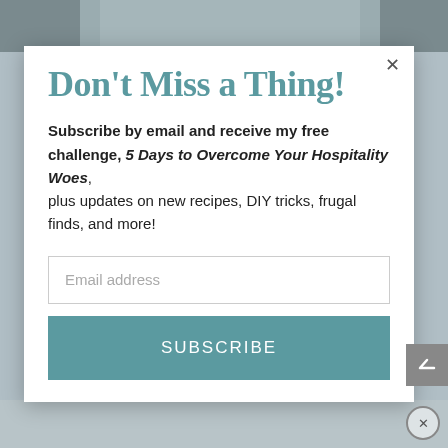[Figure (photo): Partial background photo visible behind modal popup, muted gray-blue tones]
Don't Miss a Thing!
Subscribe by email and receive my free challenge, 5 Days to Overcome Your Hospitality Woes, plus updates on new recipes, DIY tricks, frugal finds, and more!